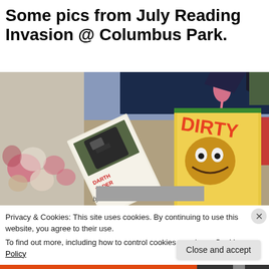Some pics from July Reading Invasion @ Columbus Park.
[Figure (photo): Photo of several books laid on a colorful patchwork quilt outdoors. Visible titles include 'Darth Vader and Son' and 'Dirty' (a children's book). Text along the spine reads 'by Kate & Jim McMullan'.]
Privacy & Cookies: This site uses cookies. By continuing to use this website, you agree to their use.
To find out more, including how to control cookies, see here: Cookie Policy